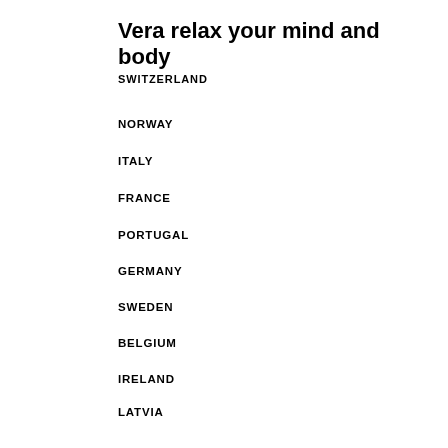Vera relax your mind and body
SWITZERLAND
NORWAY
ITALY
FRANCE
PORTUGAL
GERMANY
SWEDEN
BELGIUM
IRELAND
LATVIA
MALTA
AUSTRIA
POLAND